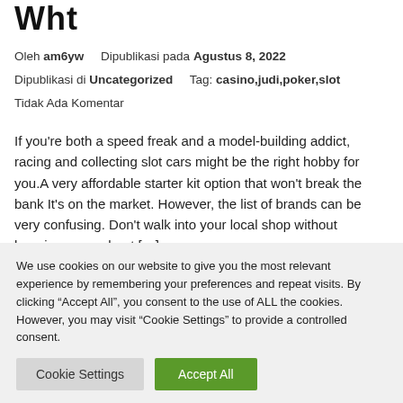Wht
Oleh am6yw    Dipublikasi pada Agustus 8, 2022
Dipublikasi di Uncategorized     Tag: casino,judi,poker,slot
Tidak Ada Komentar
If you're both a speed freak and a model-building addict, racing and collecting slot cars might be the right hobby for you.A very affordable starter kit option that won't break the bank It's on the market. However, the list of brands can be very confusing. Don't walk into your local shop without learning more about […]
We use cookies on our website to give you the most relevant experience by remembering your preferences and repeat visits. By clicking "Accept All", you consent to the use of ALL the cookies. However, you may visit "Cookie Settings" to provide a controlled consent.